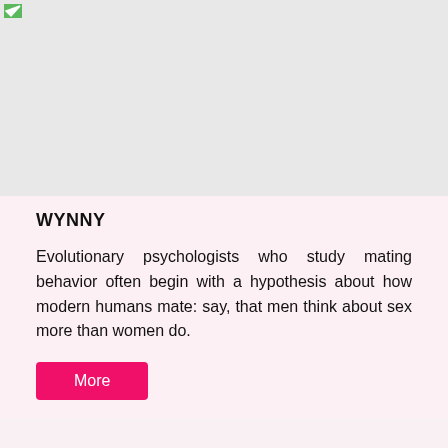[Figure (photo): Large light gray placeholder image area at the top of the page with a small green icon in the top-left corner]
WYNNY
Evolutionary psychologists who study mating behavior often begin with a hypothesis about how modern humans mate: say, that men think about sex more than women do.
More